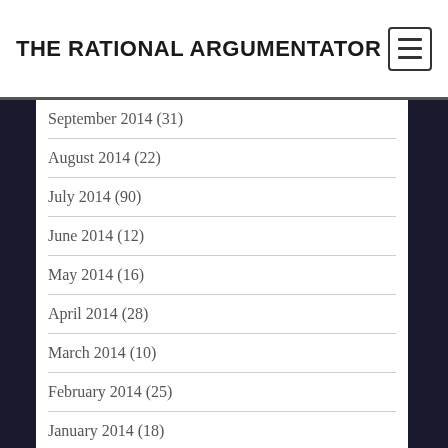THE RATIONAL ARGUMENTATOR
September 2014 (31)
August 2014 (22)
July 2014 (90)
June 2014 (12)
May 2014 (16)
April 2014 (28)
March 2014 (10)
February 2014 (25)
January 2014 (18)
December 2013 (23)